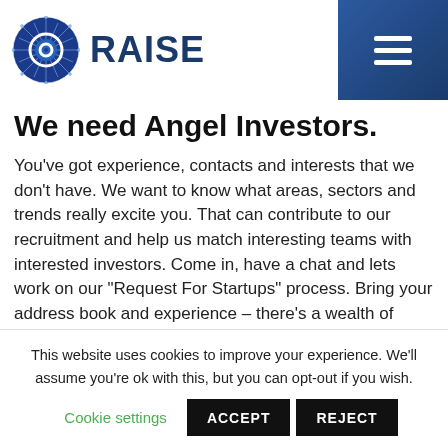[Figure (logo): ORAISE company logo with circular blue geometric sphere icon and bold navy text 'RAISE']
We need Angel Investors.
You've got experience, contacts and interests that we don't have. We want to know what areas, sectors and trends really excite you. That can contribute to our recruitment and help us match interesting teams with interested investors. Come in, have a chat and lets work on our “Request For Startups” process. Bring your address book and experience – there’s a wealth of knowledge that startups need and that
This website uses cookies to improve your experience. We'll assume you're ok with this, but you can opt-out if you wish.
Cookie settings  ACCEPT  REJECT